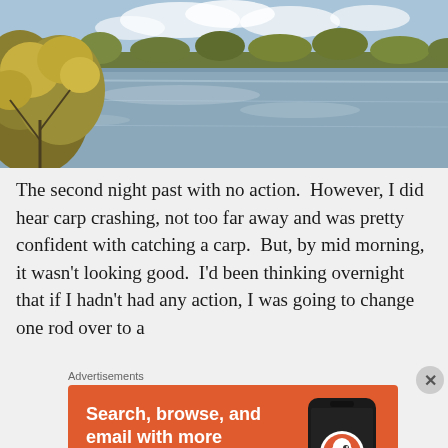[Figure (photo): Outdoor landscape photo of a calm lake or river with autumn trees and shrubs in the foreground on the left, blue sky with clouds reflected in the water surface, and trees lining the far bank.]
The second night past with no action.  However, I did hear carp crashing, not too far away and was pretty confident with catching a carp.  But, by mid morning, it wasn't looking good.  I'd been thinking overnight that if I hadn't had any action, I was going to change one rod over to a
Advertisements
[Figure (screenshot): DuckDuckGo advertisement banner on orange background: 'Search, browse, and email with more privacy. All in One Free App' with a phone showing the DuckDuckGo app and logo.]